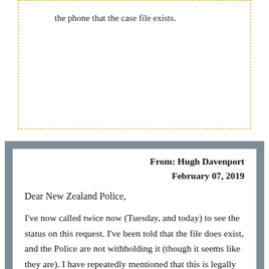the phone that the case file exists.
From: Hugh Davenport
February 07, 2019

Dear New Zealand Police,

I've now called twice now (Tuesday, and today) to see the status on this request. I've been told that the file does exist, and the Police are not withholding it (though it seems like they are). I have repeatedly mentioned that this is legally overdue. I've been told that the resolution will be that I will